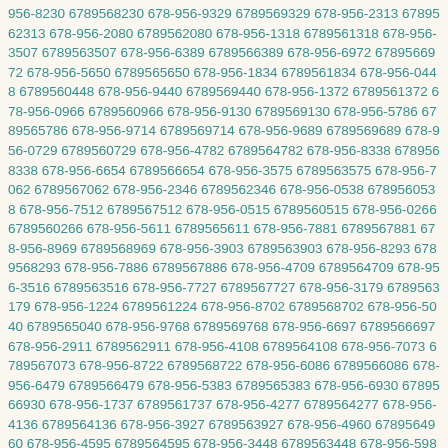956-8230 6789568230 678-956-9329 6789569329 678-956-2313 6789562313 678-956-2080 6789562080 678-956-1318 6789561318 678-956-3507 6789563507 678-956-6389 6789566389 678-956-6972 6789566972 678-956-5650 6789565650 678-956-1834 6789561834 678-956-0448 6789560448 678-956-9440 6789569440 678-956-1372 6789561372 678-956-0966 6789560966 678-956-9130 6789569130 678-956-5786 6789565786 678-956-9714 6789569714 678-956-9689 6789569689 678-956-0729 6789560729 678-956-4782 6789564782 678-956-8338 6789568338 678-956-6654 6789566654 678-956-3575 6789563575 678-956-7062 6789567062 678-956-2346 6789562346 678-956-0538 6789560538 678-956-7512 6789567512 678-956-0515 6789560515 678-956-0266 6789560266 678-956-5611 6789565611 678-956-7881 6789567881 678-956-8969 6789568969 678-956-3903 6789563903 678-956-8293 6789568293 678-956-7886 6789567886 678-956-4709 6789564709 678-956-3516 6789563516 678-956-7727 6789567727 678-956-3179 6789563179 678-956-1224 6789561224 678-956-8702 6789568702 678-956-5040 6789565040 678-956-9768 6789569768 678-956-6697 6789566697 678-956-2911 6789562911 678-956-4108 6789564108 678-956-7073 6789567073 678-956-8722 6789568722 678-956-6086 6789566086 678-956-6479 6789566479 678-956-5383 6789565383 678-956-6930 6789566930 678-956-1737 6789561737 678-956-4277 6789564277 678-956-4136 6789564136 678-956-3927 6789563927 678-956-4960 6789564960 678-956-4595 6789564595 678-956-3448 6789563448 678-956-5988 6789565988 678-956-3653 6789563653 678-956-8478 6789568478 678-956-3054 6789563054 678-956-0530 6789560530 678-956-8558 6789568558 678-956-2815 6789562815 678-956-6454 6789566454 678-956-6966